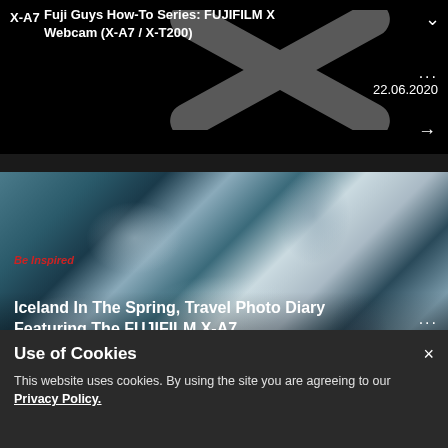[Figure (screenshot): Video card with black background showing FUJIFILM X-A7 webcam how-to video thumbnail with large X watermark logo]
X-A7
Fuji Guys How-To Series: FUJIFILM X Webcam (X-A7 / X-T200)
22.06.2020
[Figure (photo): Iceland aerial landscape photo showing rocky terrain with blue-tinted textures, used as background for article card]
Be Inspired
Iceland In The Spring, Travel Photo Diary Featuring The FUJIFILM X-A7
Stephanie Ye
17.03.2020
Use of Cookies
This website uses cookies. By using the site you are agreeing to our Privacy Policy.